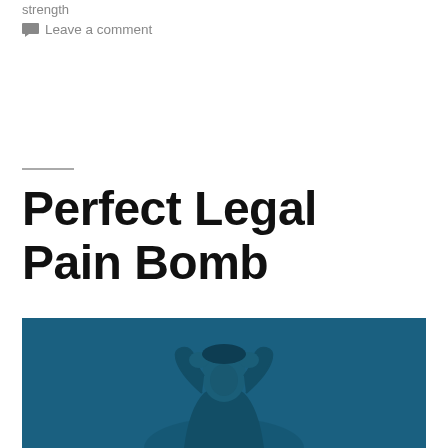strength
Leave a comment
Perfect Legal Pain Bomb
[Figure (photo): Person with hands on head against a dark blue background, suggesting stress or pain]